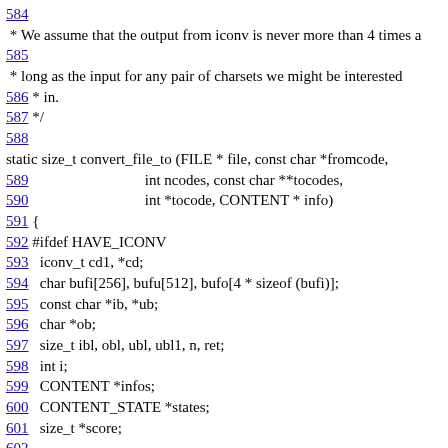584
 * We assume that the output from iconv is never more than 4 times a
585
 * long as the input for any pair of charsets we might be interested
586 * in.
587 */
588
static size_t convert_file_to (FILE * file, const char *fromcode,
589                              int ncodes, const char **tocodes,
590                              int *tocode, CONTENT * info)
591 {
592 #ifdef HAVE_ICONV
593   iconv_t cd1, *cd;
594   char bufi[256], bufu[512], bufo[4 * sizeof (bufi)];
595   const char *ib, *ub;
596   char *ob;
597   size_t ibl, obl, ubl, ubl1, n, ret;
598   int i;
599   CONTENT *infos;
600   CONTENT_STATE *states;
601   size_t *score;
602
603   cd1 = mutt_iconv_open ("UTF-8", fromcode, 0);
604   if (cd1 == (iconv_t) (-1))
605     return -1;
606